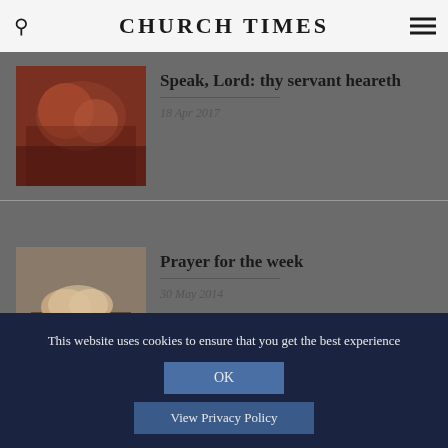CHURCH TIMES
Speak, Lord: thy servant heareth
18 Apr 2017
Prayer for the week
30 May 2014
This website uses cookies to ensure that you get the best experience
OK
View Privacy Policy